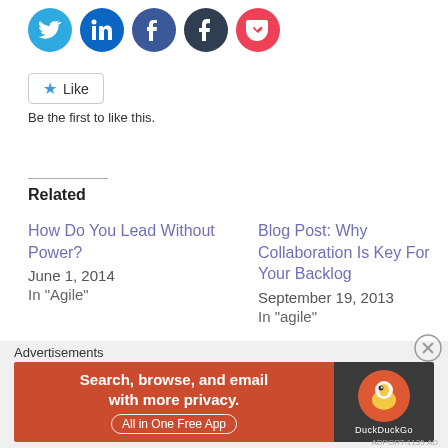[Figure (other): Social sharing icons: Twitter (blue), LinkedIn (blue), Facebook (dark blue), Tumblr (dark), Pocket (red)]
[Figure (other): Like button widget with star icon and text 'Be the first to like this.']
Related
How Do You Lead Without Power?
June 1, 2014
In "Agile"
Blog Post: Why Collaboration Is Key For Your Backlog
September 19, 2013
In "agile"
We are all users
January 7, 2013
In "development"
Advertisements
[Figure (other): DuckDuckGo advertisement banner: 'Search, browse, and email with more privacy. All in One Free App' with DuckDuckGo logo on dark background]